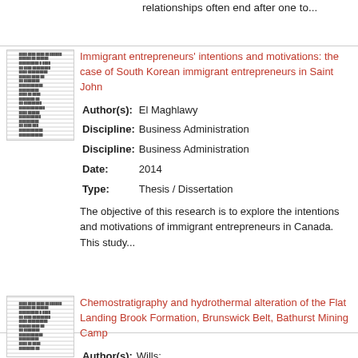relationships often end after one to...
Immigrant entrepreneurs' intentions and motivations: the case of South Korean immigrant entrepreneurs in Saint John
Author(s): El Maghlawy
Discipline: Business Administration
Discipline: Business Administration
Date: 2014
Type: Thesis / Dissertation
The objective of this research is to explore the intentions and motivations of immigrant entrepreneurs in Canada. This study...
Chemostratigraphy and hydrothermal alteration of the Flat Landing Brook Formation, Brunswick Belt, Bathurst Mining Camp
Author(s): Wills: